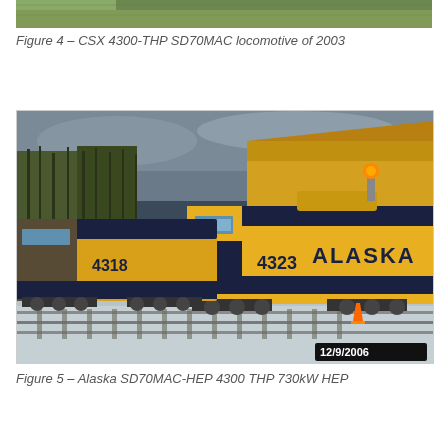[Figure (photo): Partial top strip of a locomotive photo (CSX SD70MAC), cropped at top of page]
Figure 4 – CSX 4300-THP SD70MAC locomotive of 2003
[Figure (photo): Alaska Railroad SD70MAC-HEP locomotives numbered 4318 and 4323 in yellow and dark blue livery parked at a yard near a yellow building, dated 12/9/2006]
Figure 5 – Alaska SD70MAC-HEP 4300 THP  730kW HEP